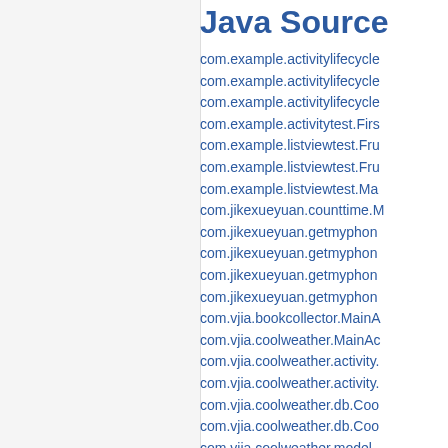Java Source
com.example.activitylifecycle...
com.example.activitylifecycle...
com.example.activitylifecycle...
com.example.activitytest.Firs...
com.example.listviewtest.Fru...
com.example.listviewtest.Fru...
com.example.listviewtest.Ma...
com.jikexueyuan.counttime.M...
com.jikexueyuan.getmyphon...
com.jikexueyuan.getmyphon...
com.jikexueyuan.getmyphon...
com.jikexueyuan.getmyphon...
com.vjia.bookcollector.MainA...
com.vjia.coolweather.MainAc...
com.vjia.coolweather.activity....
com.vjia.coolweather.activity....
com.vjia.coolweather.db.Coo...
com.vjia.coolweather.db.Coo...
com.vjia.coolweather.model....
com.vjia.coolweather.model....
com.vjia.coolweather.model....